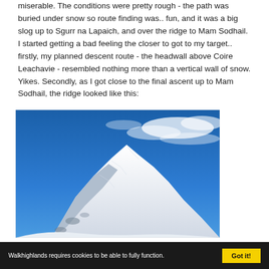miserable. The conditions were pretty rough - the path was buried under snow so route finding was.. fun, and it was a big slog up to Sgurr na Lapaich, and over the ridge to Mam Sodhail. I started getting a bad feeling the closer to got to my target.. firstly, my planned descent route - the headwall above Coire Leachavie - resembled nothing more than a vertical wall of snow. Yikes. Secondly, as I got close to the final ascent up to Mam Sodhail, the ridge looked like this:
[Figure (photo): Snow-covered mountain ridge against a deep blue sky with wispy clouds. The foreground shows steep snowy slopes and rocky ridgeline leading to a prominent snowy peak.]
Walkhighlands requires cookies to be able to fully function.   Got it!